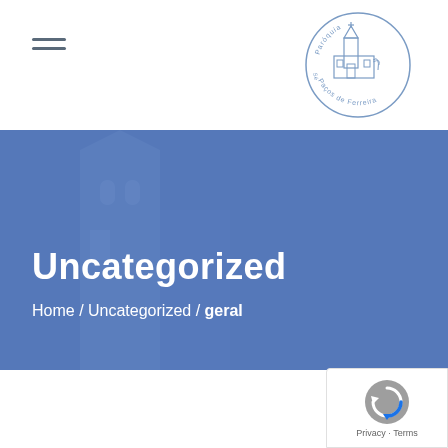[Figure (logo): Circular seal/logo of Paços de Ferreira municipality with church illustration and text 'Paróquia' and 'Paços de Ferreira']
[Figure (photo): Blue-tinted hero image showing a church building/tower used as background with overlay text]
Uncategorized
Home / Uncategorized / geral
[Figure (logo): Google reCAPTCHA badge with privacy and terms links]